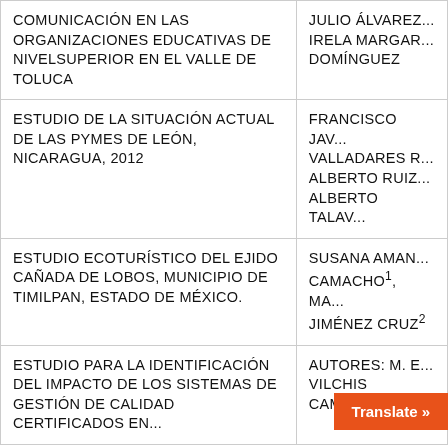| Título | Autores |
| --- | --- |
| COMUNICACIÓN EN LAS ORGANIZACIONES EDUCATIVAS DE NIVEL SUPERIOR EN EL VALLE DE TOLUCA | JULIO ÁLVAREZ... IRELA MARGAR... DOMÍNGUEZ |
| ESTUDIO DE LA SITUACIÓN ACTUAL DE LAS PYMES DE LEÓN, NICARAGUA, 2012 | FRANCISCO JAV... VALLADARES R... ALBERTO RUIZ... ALBERTO TALAV... |
| ESTUDIO ECOTURÍSTICO DEL EJIDO CAÑADA DE LOBOS, MUNICIPIO DE TIMILPAN, ESTADO DE MÉXICO. | SUSANA AMAN... CAMACHO¹, MA... JIMÉNEZ CRUZ² |
| ESTUDIO PARA LA IDENTIFICACIÓN DEL IMPACTO DE LOS SISTEMAS DE GESTIÓN DE CALIDAD CERTIFICADOS EN... | AUTORES: M. E... VILCHIS CAMAC... |